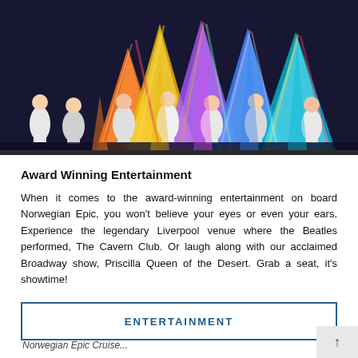[Figure (photo): Stage performance photo showing performers in colorful costumes with large rainbow-colored fabric/tent structures in the background on a theatrical stage, lit with vivid stage lighting.]
Award Winning Entertainment
When it comes to the award-winning entertainment on board Norwegian Epic, you won't believe your eyes or even your ears. Experience the legendary Liverpool venue where the Beatles performed, The Cavern Club. Or laugh along with our acclaimed Broadway show, Priscilla Queen of the Desert. Grab a seat, it's showtime!
ENTERTAINMENT